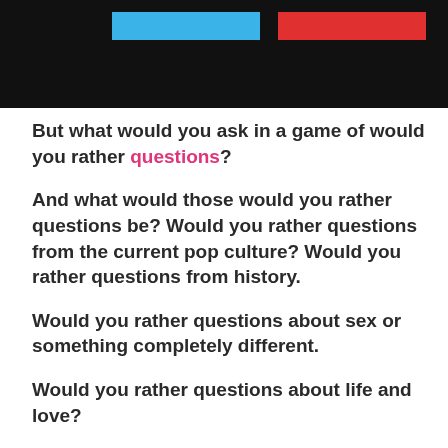[Figure (other): Header banner with black background, blue bar and red bar side by side]
But what would you ask in a game of would you rather questions?
And what would those would you rather questions be? Would you rather questions from the current pop culture? Would you rather questions from history.
Would you rather questions about sex or something completely different.
Would you rather questions about life and love?
Here's a selection of our finest Would you rather